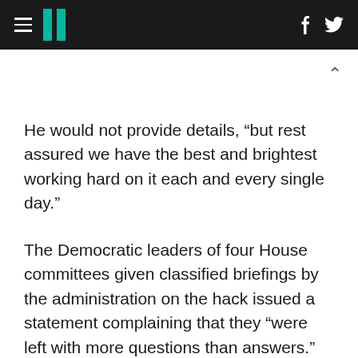HuffPost navigation header with hamburger menu, logo, Facebook and Twitter icons
He would not provide details, “but rest assured we have the best and brightest working hard on it each and every single day.”
The Democratic leaders of four House committees given classified briefings by the administration on the hack issued a statement complaining that they “were left with more questions than answers.”
“Administration officials were unwilling to share